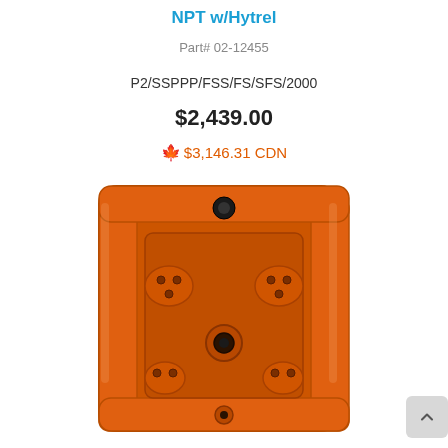NPT w/Hytrel
Part# 02-12455
P2/SSPPP/FSS/FS/SFS/2000
$2,439.00
$3,146.31 CDN
[Figure (photo): Orange double diaphragm pump, front view, showing ports and manifold construction]